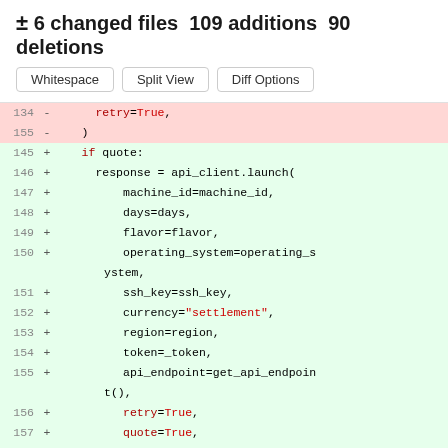± 6 changed files  109 additions  90 deletions
[Figure (screenshot): Code diff view with Whitespace, Split View, Diff Options buttons and diff lines showing deleted lines 154-155 (retry=True, ) and added lines 145-158 with if quote: block including api_client.launch() call]
134  -  retry=True,
155  -  )
145  +  if quote:
146  +    response = api_client.launch(
147  +      machine_id=machine_id,
148  +      days=days,
149  +      flavor=flavor,
150  +      operating_system=operating_system,
151  +      ssh_key=ssh_key,
152  +      currency="settlement",
153  +      region=region,
154  +      token=_token,
155  +      api_endpoint=get_api_endpoint(),
156  +      retry=True,
157  +      quote=True,
158  +    )